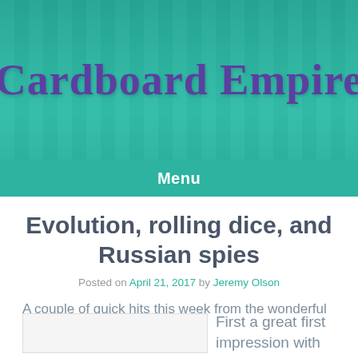[Figure (logo): Cardboard Empire website header logo with teal background overlaid on board game shelves]
Menu
Evolution, rolling dice, and Russian spies
Posted on April 21, 2017 by Jeremy Olson
A couple of quick hits this week from the wonderful world of board games.
First a great first impression with